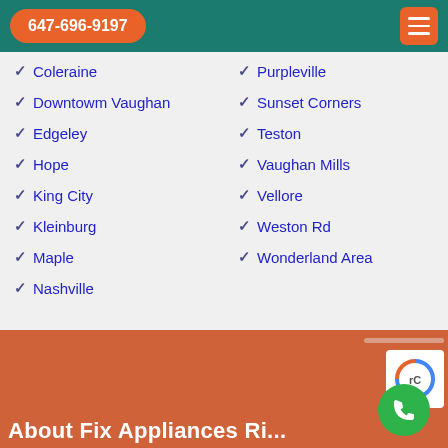647-696-9197
Coleraine
Downtowm Vaughan
Edgeley
Hope
King City
Kleinburg
Maple
Nashville
Purpleville
Sunset Corners
Teston
Vaughan Mills
Vellore
Weston Rd
Wonderland Area
About Fix Appliances Ri...